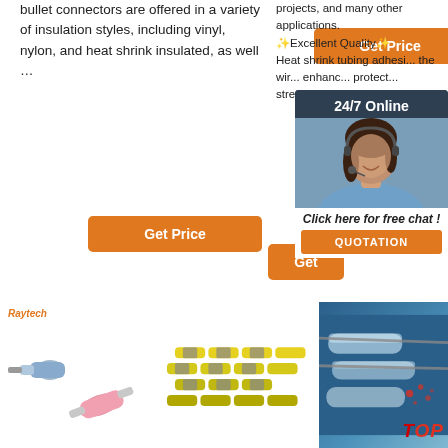bullet connectors are offered in a variety of insulation styles, including vinyl, nylon, and heat shrink insulated, as well …
[Figure (other): Orange 'Get Price' button top right area]
projects, and many other applications. ★Excellent Quality★ Heat shrink tubing adhesi... the wir... enhanc... protect... stretch... weathe...
[Figure (photo): Chat widget with '24/7 Online' header, customer service representative photo, 'Click here for free chat!' text and QUOTATION button]
[Figure (other): Orange 'Get Price' button mid left]
[Figure (other): Orange 'Get' button partial right]
[Figure (photo): Raytech branded product image showing heat shrink connectors - bullet connector and pink heat shrink butt connector]
[Figure (photo): Yellow/green heat shrink solder seal wire connectors in bulk]
[Figure (photo): Blue background image showing clear heat shrink tubing with TOP logo]